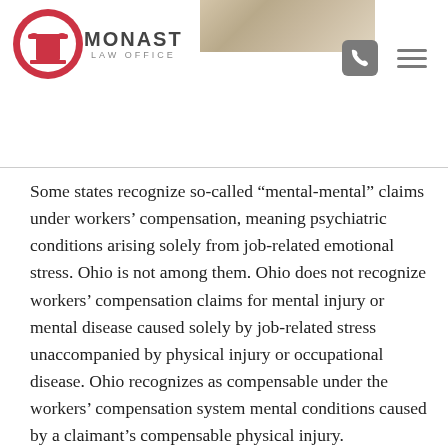[Figure (logo): Monast Law Office logo with a column capital icon in a red circle, and the text MONAST LAW OFFICE]
Some states recognize so-called “mental-mental” claims under workers’ compensation, meaning psychiatric conditions arising solely from job-related emotional stress. Ohio is not among them. Ohio does not recognize workers’ compensation claims for mental injury or mental disease caused solely by job-related stress unaccompanied by physical injury or occupational disease. Ohio recognizes as compensable under the workers’ compensation system mental conditions caused by a claimant’s compensable physical injury.